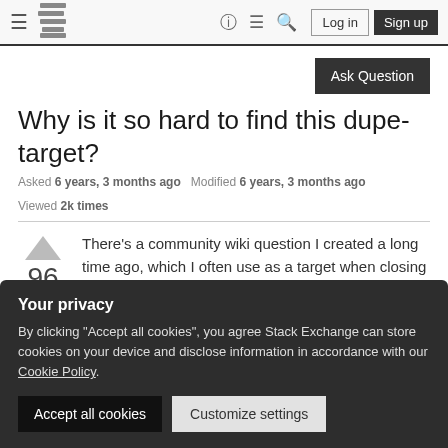Stack Exchange navigation header with Log in and Sign up buttons
Ask Question
Why is it so hard to find this dupe-target?
Asked 6 years, 3 months ago   Modified 6 years, 3 months ago   Viewed 2k times
There's a community wiki question I created a long time ago, which I often use as a target when closing other questions as dupes:
Your privacy
By clicking "Accept all cookies", you agree Stack Exchange can store cookies on your device and disclose information in accordance with our Cookie Policy.
Accept all cookies   Customize settings